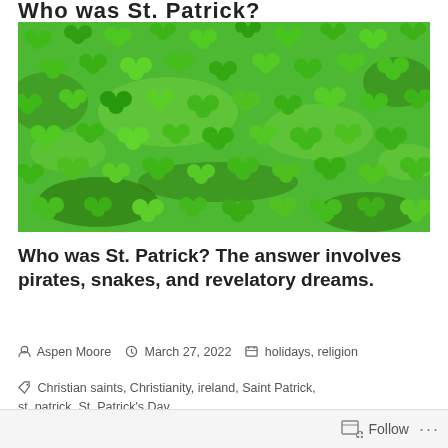Who was St. Patrick?
[Figure (photo): Overhead photo of dense green shamrock/clover leaves covering the entire frame]
Who was St. Patrick? The answer involves pirates, snakes, and revelatory dreams.
Aspen Moore   March 27, 2022   holidays, religion
Christian saints, Christianity, ireland, Saint Patrick, st. patrick, St. Patrick's Day
Follow ...